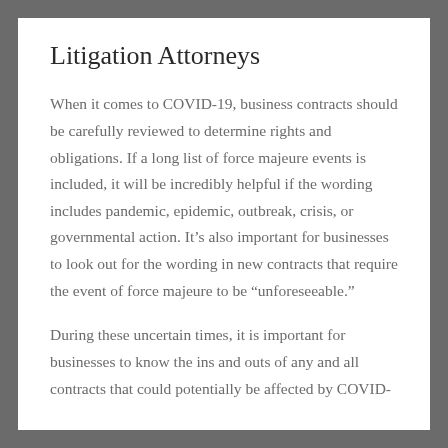Litigation Attorneys
When it comes to COVID-19, business contracts should be carefully reviewed to determine rights and obligations. If a long list of force majeure events is included, it will be incredibly helpful if the wording includes pandemic, epidemic, outbreak, crisis, or governmental action. It’s also important for businesses to look out for the wording in new contracts that require the event of force majeure to be “unforeseeable.”
During these uncertain times, it is important for businesses to know the ins and outs of any and all contracts that could potentially be affected by COVID-